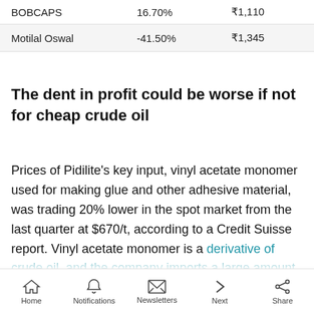|  |  |  |
| --- | --- | --- |
| BOBCAPS | 16.70% | ₹1,110 |
| Motilal Oswal | -41.50% | ₹1,345 |
The dent in profit could be worse if not for cheap crude oil
Prices of Pidilite's key input, vinyl acetate monomer used for making glue and other adhesive material, was trading 20% lower in the spot market from the last quarter at $670/t, according to a Credit Suisse report. Vinyl acetate monomer is a derivative of crude oil, and the company imports a large amount of VAM to meet its requirements.
Home | Notifications | Newsletters | Next | Share